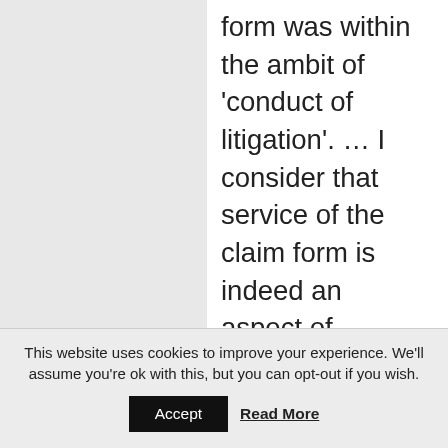form was within the ambit of 'conduct of litigation'. … I consider that service of the claim form is indeed an aspect of 'prosecution… of such proceedings' and at all events that service of the claim form is 'an ancillary function in relation to such proceedings'.  As stated by the Court of Appeal in paragraph 56 of Agassi, it must have been intended that 'ancillary functions'
This website uses cookies to improve your experience. We'll assume you're ok with this, but you can opt-out if you wish.